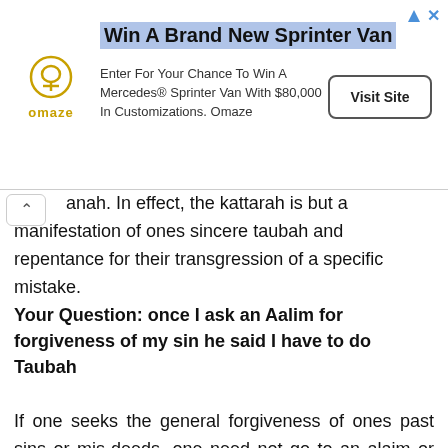[Figure (infographic): Advertisement banner for Omaze: 'Win A Brand New Sprinter Van' — Enter For Your Chance To Win A Mercedes® Sprinter Van With $80,000 In Customizations. Omaze. Visit Site button.]
anah. In effect, the kattarah is but a manifestation of ones sincere taubah and repentance for their transgression of a specific mistake.
Your Question: once I ask an Aalim for forgiveness of my sin he said I have to do Taubah
If one seeks the general forgiveness of ones past sins or mis-deeds, one need not go to an alaim or anyone in creation.one simply needs to turn back to their Lord Most Gracious in taubah and in absolute humility, and fear, in hope and in awe beseech and